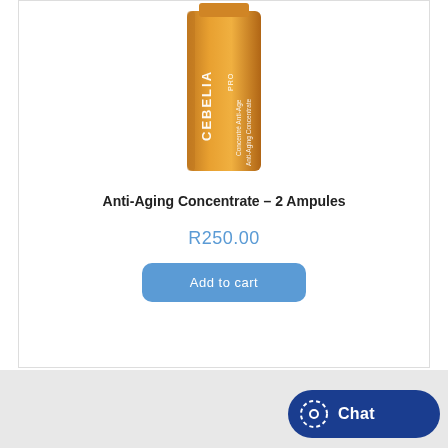[Figure (photo): Product image of Cebelia PRO Anti-Aging Concentrate ampoule, a golden/amber colored cylindrical bottle with white text on it]
Anti-Aging Concentrate – 2 Ampules
R250.00
Add to cart